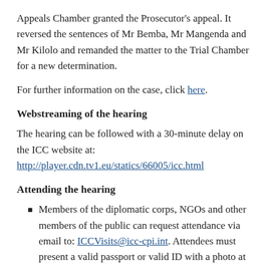Appeals Chamber granted the Prosecutor's appeal. It reversed the sentences of Mr Bemba, Mr Mangenda and Mr Kilolo and remanded the matter to the Trial Chamber for a new determination.
For further information on the case, click here.
Webstreaming of the hearing
The hearing can be followed with a 30-minute delay on the ICC website at: http://player.cdn.tv1.eu/statics/66005/icc.html
Attending the hearing
Members of the diplomatic corps, NGOs and other members of the public can request attendance via email to: ICCVisits@icc-cpi.int. Attendees must present a valid passport or valid ID with a photo at the main entrance of the Court (at: Oude Waalsdorperweg 10, 2597 AK The Hague).